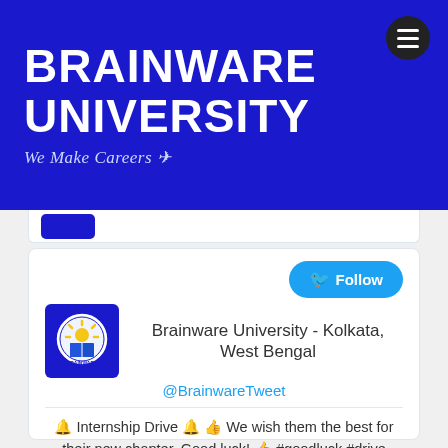BRAINWARE UNIVERSITY
We Make Careers
[Figure (screenshot): Brainware University website header with blue background, white bold text 'BRAINWARE UNIVERSITY', italic tagline 'We Make Careers', and hamburger menu icon on the right.]
[Figure (screenshot): Twitter follow widget showing Brainware University - Kolkata, West Bengal account (@BrainwareTweet) with a Follow button, profile logo, and a tweet about Internship Drive with hashtags #goodluck #drive #beproud #beready, posted about 3 hours ago.]
🔔 Internship Drive 🔔 👍 We wish them the best for their new chapter. Good luck! 👍 #goodluck #drive #beproud #beready... https://t.co/tWMuFVlnHp
about 3 hours ago